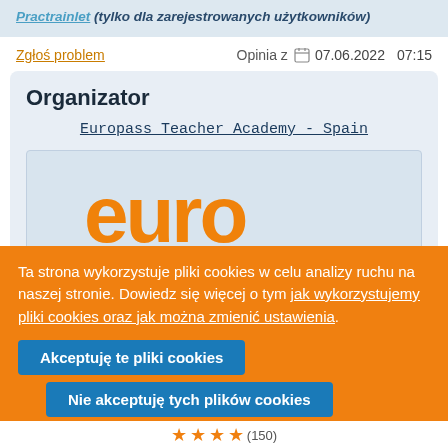Practrainlet (tylko dla zarejestrowanych użytkowników)
Zgłoś problem   Opinia z  07.06.2022  07:15
Organizator
Europass Teacher Academy - Spain
[Figure (logo): Europass logo showing 'euro' text in large orange bold font on a light blue background]
Ta strona wykorzystuje pliki cookies w celu analizy ruchu na naszej stronie. Dowiedz się więcej o tym jak wykorzystujemy pliki cookies oraz jak można zmienić ustawienia.
Akceptuję te pliki cookies
Nie akceptuję tych plików cookies
(150)